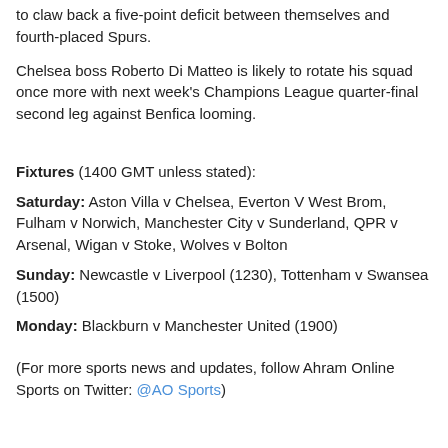to claw back a five-point deficit between themselves and fourth-placed Spurs.
Chelsea boss Roberto Di Matteo is likely to rotate his squad once more with next week's Champions League quarter-final second leg against Benfica looming.
Fixtures (1400 GMT unless stated):
Saturday: Aston Villa v Chelsea, Everton V West Brom, Fulham v Norwich, Manchester City v Sunderland, QPR v Arsenal, Wigan v Stoke, Wolves v Bolton
Sunday: Newcastle v Liverpool (1230), Tottenham v Swansea (1500)
Monday: Blackburn v Manchester United (1900)
(For more sports news and updates, follow Ahram Online Sports on Twitter: @AO Sports)